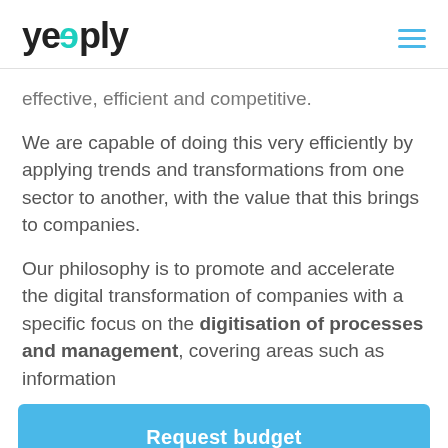yeeply
effective, efficient and competitive.
We are capable of doing this very efficiently by applying trends and transformations from one sector to another, with the value that this brings to companies.
Our philosophy is to promote and accelerate the digital transformation of companies with a specific focus on the digitisation of processes and management, covering areas such as information
Request budget